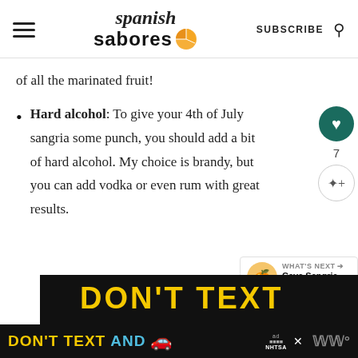spanish sabores — SUBSCRIBE
of all the marinated fruit!
Hard alcohol: To give your 4th of July sangria some punch, you should add a bit of hard alcohol. My choice is brandy, but you can add vodka or even rum with great results.
[Figure (screenshot): DON'T TEXT AND [car emoji] advertisement banner from NHTSA]
[Figure (other): What's Next arrow panel showing Cava Sangria Recipe with food thumbnail]